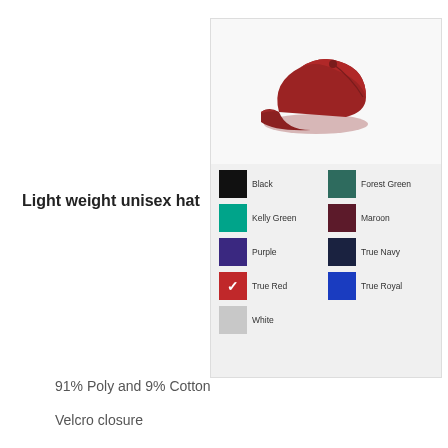[Figure (photo): Product catalog image of a maroon/red baseball cap shown from above-front angle, with a color swatch grid showing available colors: Black, Forest Green, Kelly Green, Maroon, Purple, True Navy, True Red (checked/selected), True Royal, White]
Light weight unisex hat
91% Poly and 9% Cotton
Velcro closure